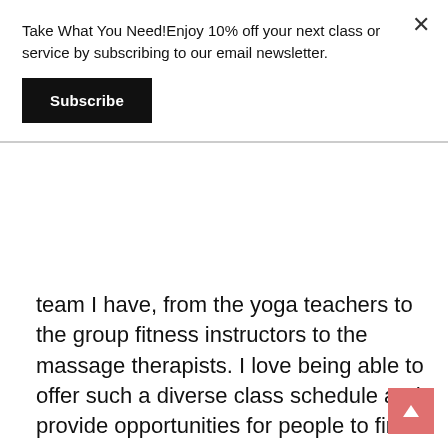Take What You Need!Enjoy 10% off your next class or service by subscribing to our email newsletter.
Subscribe
team I have, from the yoga teachers to the group fitness instructors to the massage therapists. I love being able to offer such a diverse class schedule and provide opportunities for people to find a way that they enjoy moving their body and stick with it. I love watching clients come in for a massage treatment and seeing them leave feeling and looking like a new person. I love watching my nutrition clients slay their goals, keeping them accountable, and sticking by them